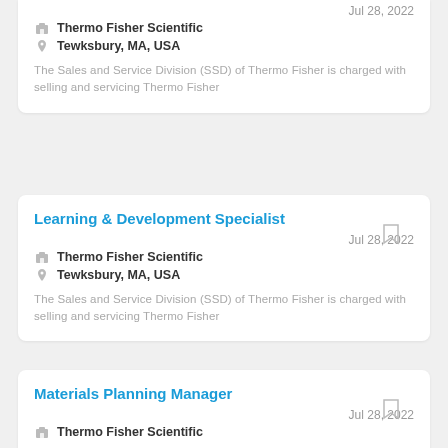Thermo Fisher Scientific | Tewksbury, MA, USA | Jul 28, 2022 | The Sales and Service Division (SSD) of Thermo Fisher is charged with selling and servicing Thermo Fisher
Learning & Development Specialist
Thermo Fisher Scientific | Tewksbury, MA, USA | Jul 28, 2022 | The Sales and Service Division (SSD) of Thermo Fisher is charged with selling and servicing Thermo Fisher
Materials Planning Manager
Thermo Fisher Scientific | Jul 28, 2022